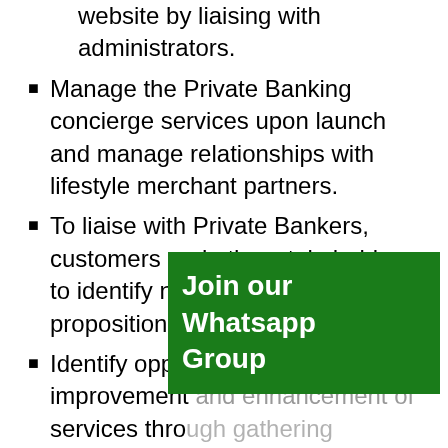website by liaising with administrators.
Manage the Private Banking concierge services upon launch and manage relationships with lifestyle merchant partners.
To liaise with Private Bankers, customers and other stakeholders to identify new trend and value propositions.
Identify opportunities for improvement and enhancement of services through gathering customers' needs and feedback on current services offered
[Figure (other): Green overlay box with white text reading 'Join our Whatsapp Group']